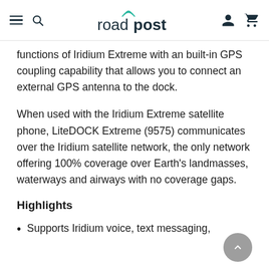Roadpost navigation header with hamburger menu, search, logo, user account, and cart icons
functions of Iridium Extreme with an built-in GPS coupling capability that allows you to connect an external GPS antenna to the dock.
When used with the Iridium Extreme satellite phone, LiteDOCK Extreme (9575) communicates over the Iridium satellite network, the only network offering 100% coverage over Earth's landmasses, waterways and airways with no coverage gaps.
Highlights
Supports Iridium voice, text messaging,